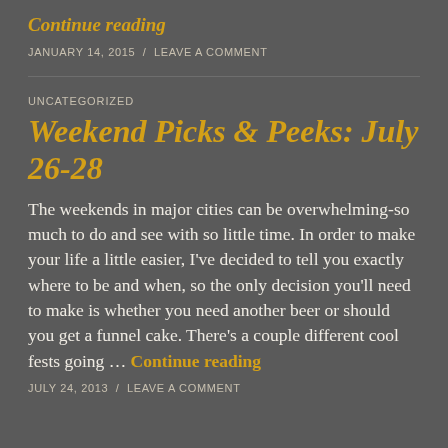Continue reading
JANUARY 14, 2015 / LEAVE A COMMENT
UNCATEGORIZED
Weekend Picks & Peeks: July 26-28
The weekends in major cities can be overwhelming-so much to do and see with so little time. In order to make your life a little easier, I've decided to tell you exactly where to be and when, so the only decision you'll need to make is whether you need another beer or should you get a funnel cake. There's a couple different cool fests going … Continue reading
JULY 24, 2013 / LEAVE A COMMENT